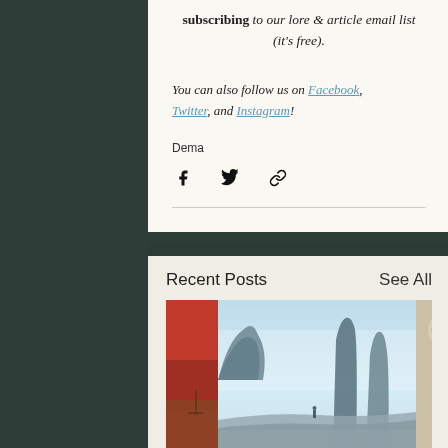subscribing to our lore & article email list (it's free).
You can also follow us on Facebook, Twitter, and Instagram!
Dema
[Figure (other): Social share icons: Facebook, Twitter, and link/copy icons]
Recent Posts
See All
[Figure (photo): Misty coastal rock formations with a lone figure standing on a beach between tall sea stacks in blue atmospheric light]